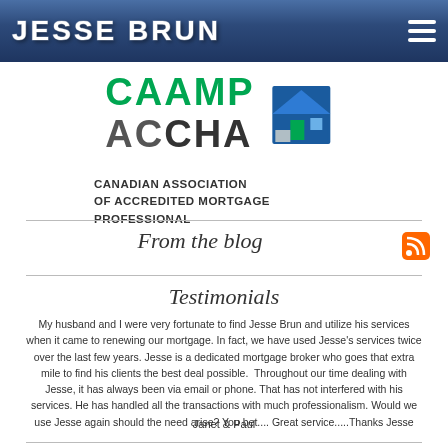JESSE BRUN
[Figure (logo): CAAMP ACCHA Canadian Association of Accredited Mortgage Professional logo with blue and green house icon]
From the blog
Testimonials
My husband and I were very fortunate to find Jesse Brun and utilize his services when it came to renewing our mortgage. In fact, we have used Jesse's services twice over the last few years. Jesse is a dedicated mortgage broker who goes that extra mile to find his clients the best deal possible. Throughout our time dealing with Jesse, it has always been via email or phone. That has not interfered with his services. He has handled all the transactions with much professionalism. Would we use Jesse again should the need arise? You bet.... Great service.....Thanks Jesse
Janet & Paul